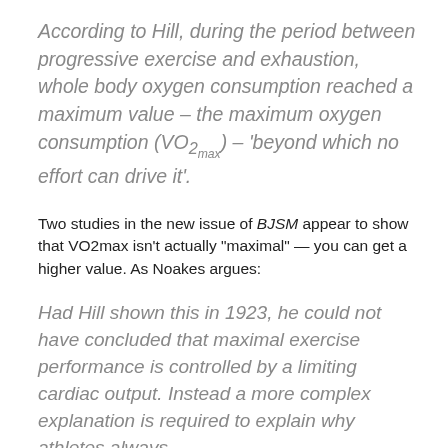According to Hill, during the period between progressive exercise and exhaustion, whole body oxygen consumption reached a maximum value – the maximum oxygen consumption (VO2max) – 'beyond which no effort can drive it'.
Two studies in the new issue of BJSM appear to show that VO2max isn't actually "maximal" — you can get a higher value. As Noakes argues:
Had Hill shown this in 1923, he could not have concluded that maximal exercise performance is controlled by a limiting cardiac output. Instead a more complex explanation is required to explain why athletes always